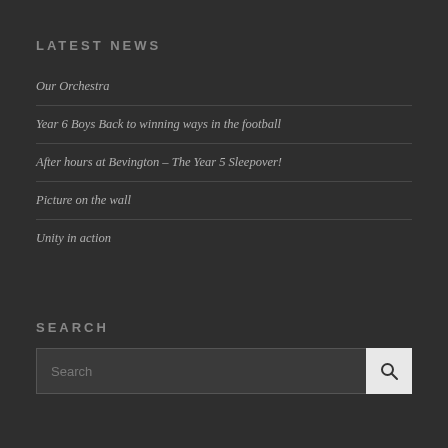LATEST NEWS
Our Orchestra
Year 6 Boys Back to winning ways in the football
After hours at Bevington – The Year 5 Sleepover!
Picture on the wall
Unity in action
SEARCH